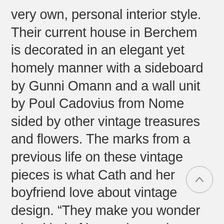very own, personal interior style. Their current house in Berchem is decorated in an elegant yet homely manner with a sideboard by Gunni Omann and a wall unit by Poul Cadovius from Nome sided by other vintage treasures and flowers. The marks from a previous life on these vintage pieces is what Cath and her boyfriend love about vintage design. “They make you wonder what kind of home these pieces came from. Which heated discussions were held at this vintage table about sixty years ago?” We have to agree with the